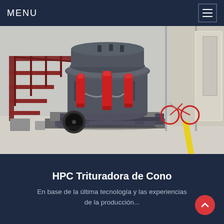MENU
[Figure (photo): Industrial HPC cone crusher machine in a factory/warehouse setting. Large dark gray cone crusher with red hydraulic cylinders, mounted on a steel platform. Red metal staircase on the left, a bicycle visible in the background near the wall.]
HPC Trituradora de Cono
En base de la última tecnología y las experiencias de la producción...